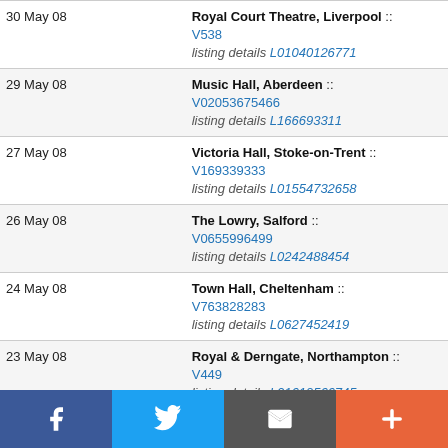| Date | Venue |
| --- | --- |
| 30 May 08 | Royal Court Theatre, Liverpool :: V538
listing details L01040126771 |
| 29 May 08 | Music Hall, Aberdeen :: V02053675466
listing details L166693311 |
| 27 May 08 | Victoria Hall, Stoke-on-Trent :: V169339333
listing details L01554732658 |
| 26 May 08 | The Lowry, Salford :: V0655996499
listing details L0242488454 |
| 24 May 08 | Town Hall, Cheltenham :: V763828283
listing details L0627452419 |
| 23 May 08 | Royal & Derngate, Northampton :: V449
listing details L01619566745 |
| 20 May 08 | Bristol Hippodrome, Bristol :: |